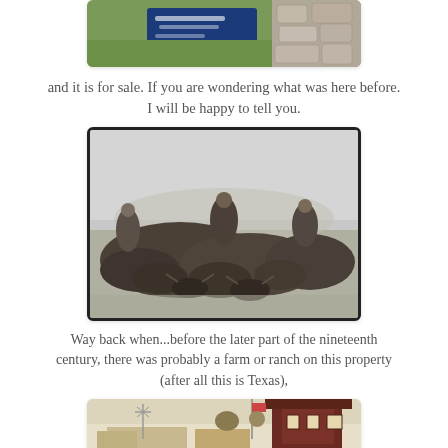[Figure (photo): Partial photo of a real estate for-sale sign on a lawn with stone wall background]
and it is for sale. If you are wondering what was here before. I will be happy to tell you.
[Figure (photo): Black and white historical photograph of cowboys on horseback herding cattle on open prairie]
Way back when...before the later part of the nineteenth century, there was probably a farm or ranch on this property (after all this is Texas),
[Figure (photo): Partial historical sepia photograph of an old building or farmstead with a flag]